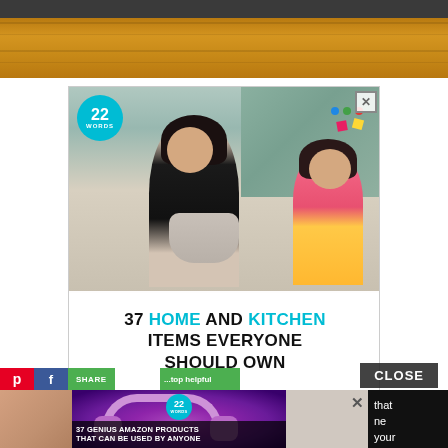[Figure (photo): Top portion of a kitchen/cooking scene with dark top bar and orange wood grain surface visible]
[Figure (photo): Advertisement from 22 Words showing a woman and young girl cooking together with text '37 HOME AND KITCHEN ITEMS EVERYONE SHOULD OWN']
[Figure (photo): Bottom advertisement showing purple headphones and text '37 GENIUS AMAZON PRODUCTS THAT CAN BE USED BY ANYONE', with social share buttons and a CLOSE button]